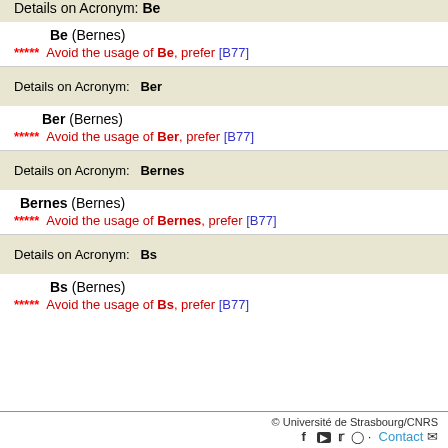Details on Acronym: Be
Be (Bernes)
***** Avoid the usage of Be, prefer [B77]
Details on Acronym: Ber
Ber (Bernes)
***** Avoid the usage of Ber, prefer [B77]
Details on Acronym: Bernes
Bernes (Bernes)
***** Avoid the usage of Bernes, prefer [B77]
Details on Acronym: Bs
Bs (Bernes)
***** Avoid the usage of Bs, prefer [B77]
© Université de Strasbourg/CNRS  Contact